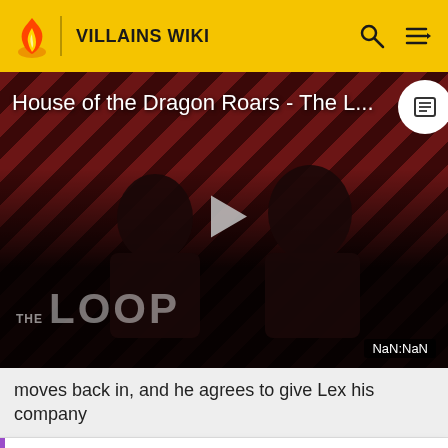VILLAINS WIKI
[Figure (screenshot): Video thumbnail for 'House of the Dragon Roars - The L...' with diagonal red/dark stripe background, two person silhouettes, THE LOOP watermark, play button in center, NaN:NaN timer badge, and caption icon in top right]
moves back in, and he agrees to give Lex his company
Hi. This is Thesecret1070. I am an admin of this site. Edit as much as you wish, but one little thing... If you are going to edit a lot, then make yourself a user and login. Other than that, enjoy Villains Wiki!!!